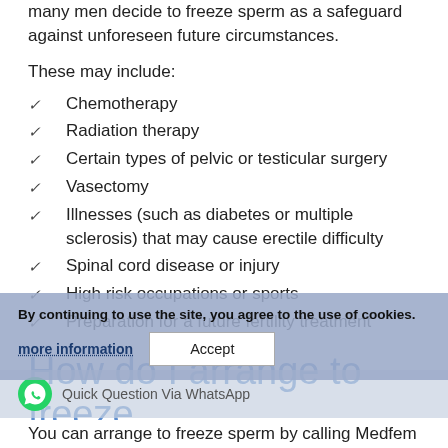many men decide to freeze sperm as a safeguard against unforeseen future circumstances.
These may include:
Chemotherapy
Radiation therapy
Certain types of pelvic or testicular surgery
Vasectomy
Illnesses (such as diabetes or multiple sclerosis) that may cause erectile difficulty
Spinal cord disease or injury
High risk occupations or sports
Preparation for a future fertility treatment
How do I arrange to freeze
By continuing to use the site, you agree to the use of cookies.
more information
Accept
Quick Question Via WhatsApp
You can arrange to freeze sperm by calling Medfem